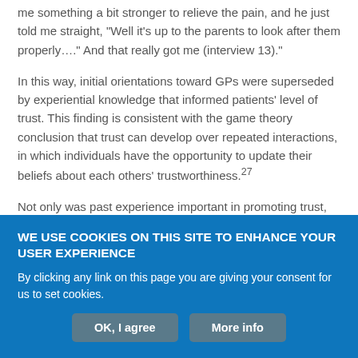me something a bit stronger to relieve the pain, and he just told me straight, "Well it's up to the parents to look after them properly…." And that really got me (interview 13).
In this way, initial orientations toward GPs were superseded by experiential knowledge that informed patients' level of trust. This finding is consistent with the game theory conclusion that trust can develop over repeated interactions, in which individuals have the opportunity to update their beliefs about each others' trustworthiness.27
Not only was past experience important in promoting trust, but
WE USE COOKIES ON THIS SITE TO ENHANCE YOUR USER EXPERIENCE
By clicking any link on this page you are giving your consent for us to set cookies.